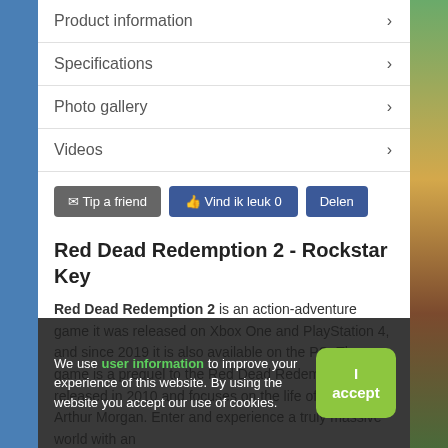Product information
Specifications
Photo gallery
Videos
Tip a friend   Vind ik leuk 0   Delen
Red Dead Redemption 2 - Rockstar Key
Red Dead Redemption 2 is an action-adventure game it was released on Xbox One and PlayStation 4, and since 2019 it is also available on the PC. The game is a prequel to the Red Dead Redemption released in 2010 and focuses on the life of the outlaw Arthur Morgan. Enter and experience a truly massive world with an
We use user information to improve your experience of this website. By using the website you accept our use of cookies.